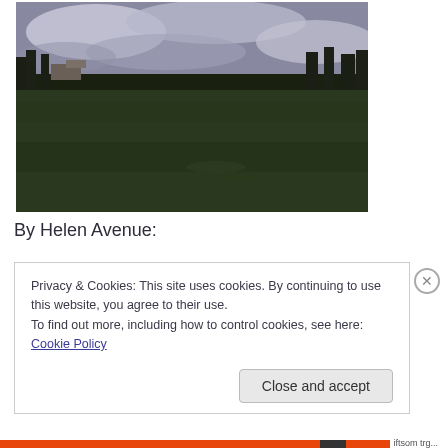[Figure (photo): Outdoor photograph of a large open grass field with bare trees in the background and an overcast cloudy sky. Some buildings are visible beyond the treeline on the left side.]
By Helen Avenue:
Privacy & Cookies: This site uses cookies. By continuing to use this website, you agree to their use.
To find out more, including how to control cookies, see here: Cookie Policy
Close and accept